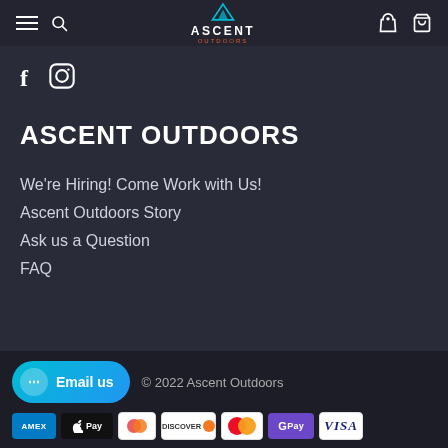Navigation bar with hamburger menu, search, Ascent Outdoors logo, user icon, cart icon
[Figure (logo): Ascent Outdoors logo with mountain icon, ASCENT text in white, OUTDOORS in orange]
f (Facebook icon)
Instagram icon
ASCENT OUTDOORS
We're Hiring! Come Work with Us!
Ascent Outdoors Story
Ask us a Question
FAQ
© 2022 Ascent Outdoors
[Figure (logo): Payment method icons: AMEX, Apple Pay, Diners Club, Discover, Mastercard, Google Pay, Visa]